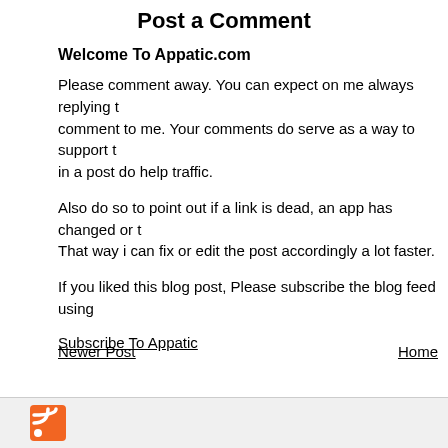Post a Comment
Welcome To Appatic.com
Please comment away. You can expect on me always replying to a comment to me. Your comments do serve as a way to support the, in a post do help traffic.
Also do so to point out if a link is dead, an app has changed or t. That way i can fix or edit the post accordingly a lot faster.
If you liked this blog post, Please subscribe the blog feed using
Subscribe To Appatic
Newer Post
Home